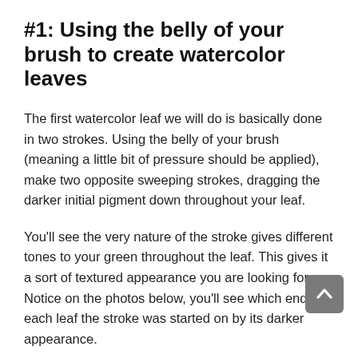#1: Using the belly of your brush to create watercolor leaves
The first watercolor leaf we will do is basically done in two strokes. Using the belly of your brush (meaning a little bit of pressure should be applied), make two opposite sweeping strokes, dragging the darker initial pigment down throughout your leaf.
You'll see the very nature of the stroke gives different tones to your green throughout the leaf. This gives it a sort of textured appearance you are looking for. Notice on the photos below, you'll see which end of each leaf the stroke was started on by its darker appearance.
After that, use the tip of your watercolor brush to add finer details to each end of your leaf such as a pointed tip or stem from the bottom. Feel free to leave some negative